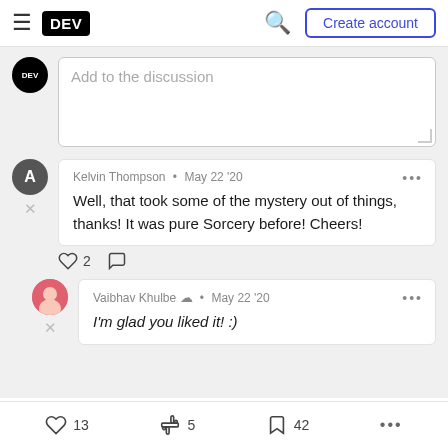DEV — Create account
Add to the discussion
Kelvin Thompson · May 22 '20 — Well, that took some of the mystery out of things, thanks! It was pure Sorcery before! Cheers!
♡ 2
Vaibhav Khulbe · May 22 '20 — I'm glad you liked it! :)
♡ 13  〽 5  🔖 42  ...